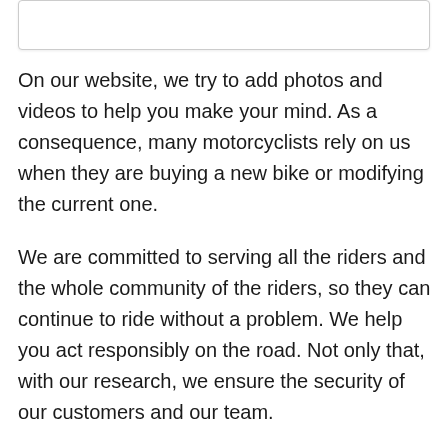[Figure (other): White box/card element at top of page]
On our website, we try to add photos and videos to help you make your mind. As a consequence, many motorcyclists rely on us when they are buying a new bike or modifying the current one.
We are committed to serving all the riders and the whole community of the riders, so they can continue to ride without a problem. We help you act responsibly on the road. Not only that, with our research, we ensure the security of our customers and our team.
Our daily commute is something that cannot be ignored. Because of that, having a mode of transportation is somethinghibidine. Part...